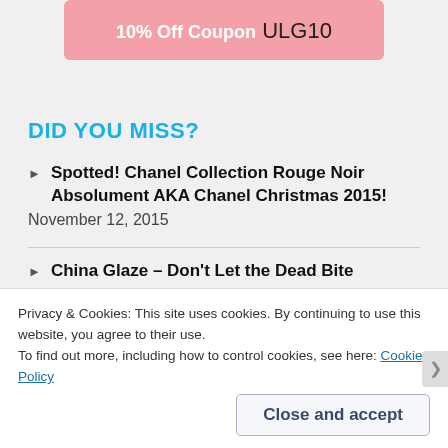10% Off Coupon ULG10
DID YOU MISS?
Spotted! Chanel Collection Rouge Noir Absolument AKA Chanel Christmas 2015!
November 12, 2015
China Glaze – Don't Let the Dead Bite
November 5, 2015
Spotted!  Palette London, Ciate and Miss
Privacy & Cookies: This site uses cookies. By continuing to use this website, you agree to their use.
To find out more, including how to control cookies, see here: Cookie Policy
Close and accept